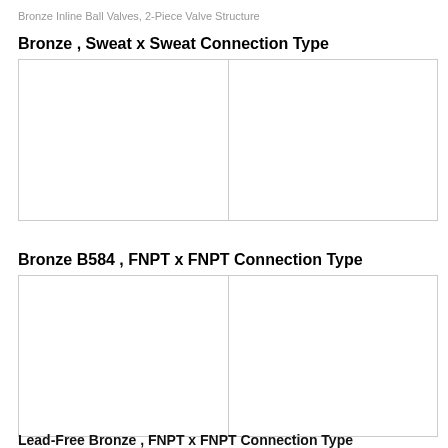Bronze Inline Ball Valves, 2-Piece Valve Structure
Bronze , Sweat x Sweat Connection Type
|  |  |
Bronze B584 , FNPT x FNPT Connection Type
|  |  |
Lead-Free Bronze , FNPT x FNPT Connection Type